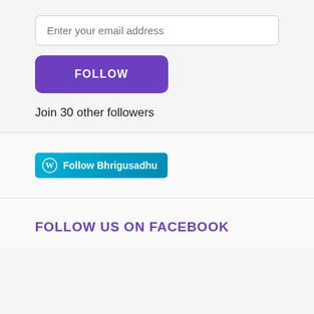Enter your email address
FOLLOW
Join 30 other followers
[Figure (other): WordPress Follow Bhrigusadhu button — teal gradient button with WordPress logo and text 'Follow Bhrigusadhu']
FOLLOW US ON FACEBOOK